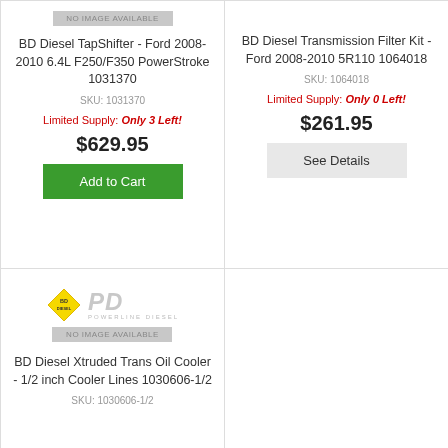[Figure (other): No image available placeholder bar for product 1031370]
BD Diesel TapShifter - Ford 2008-2010 6.4L F250/F350 PowerStroke 1031370
SKU: 1031370
Limited Supply: Only 3 Left!
$629.95
Add to Cart
[Figure (other): No image available placeholder for product 1064018]
BD Diesel Transmission Filter Kit - Ford 2008-2010 5R110 1064018
SKU: 1064018
Limited Supply: Only 0 Left!
$261.95
See Details
[Figure (logo): BD Diesel logo (diamond shape) and PD Powerline Diesel logo]
BD Diesel Xtruded Trans Oil Cooler - 1/2 inch Cooler Lines 1030606-1/2
SKU: 1030606-1/2